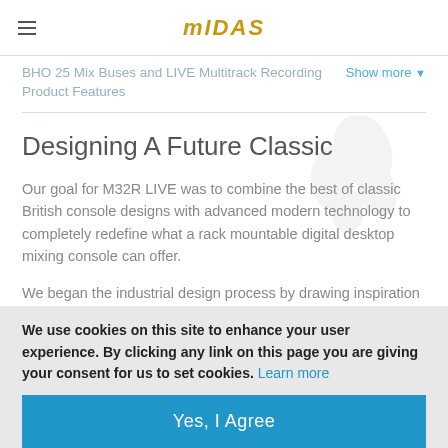MIDAS
BHO 25 Mix Buses and LIVE Multitrack Recording
Product Features
Designing A Future Classic
Our goal for M32R LIVE was to combine the best of classic British console designs with advanced modern technology to completely redefine what a rack mountable digital desktop mixing console can offer.
We began the industrial design process by drawing inspiration from a somewhat unexpected source – the luxury and high-performance car industry.
We use cookies on this site to enhance your user experience. By clicking any link on this page you are giving your consent for us to set cookies. Learn more
Yes, I Agree